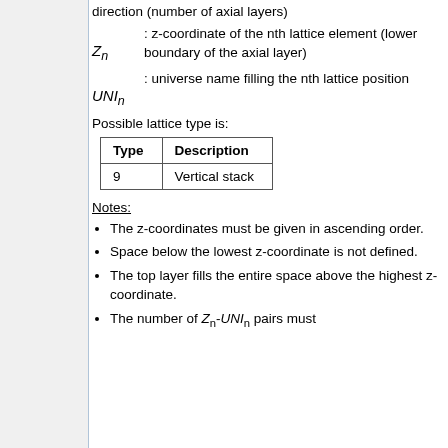direction (number of axial layers)
Z_n : z-coordinate of the nth lattice element (lower boundary of the axial layer)
UNI_n : universe name filling the nth lattice position
Possible lattice type is:
| Type | Description |
| --- | --- |
| 9 | Vertical stack |
Notes:
The z-coordinates must be given in ascending order.
Space below the lowest z-coordinate is not defined.
The top layer fills the entire space above the highest z-coordinate.
The number of Z_n-UNI_n pairs must